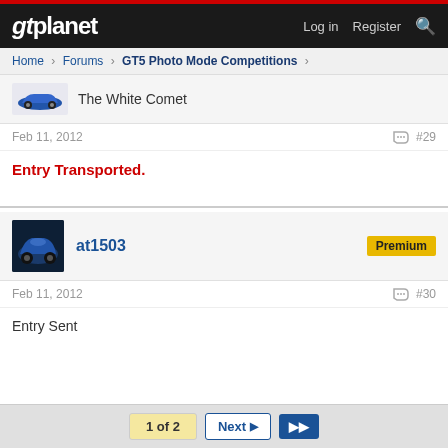gtplanet — Log in  Register  [search]
Home > Forums > GT5 Photo Mode Competitions >
The White Comet
Feb 11, 2012   #29
Entry Transported.
at1503   Premium
Feb 11, 2012   #30
Entry Sent
1 of 2   Next   >>